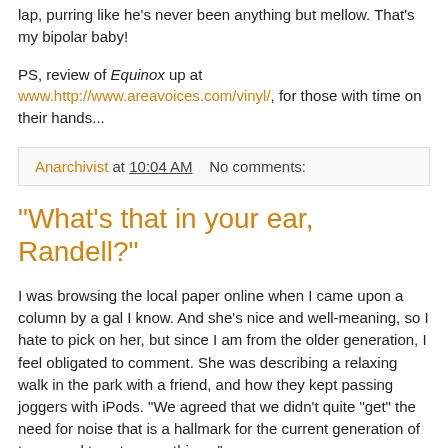lap, purring like he's never been anything but mellow. That's my bipolar baby!
PS, review of Equinox up at www.http://www.areavoices.com/vinyl/, for those with time on their hands...
Anarchivist at 10:04 AM   No comments:
"What's that in your ear, Randell?"
I was browsing the local paper online when I came upon a column by a gal I know. And she's nice and well-meaning, so I hate to pick on her, but since I am from the older generation, I feel obligated to comment. She was describing a relaxing walk in the park with a friend, and how they kept passing joggers with iPods. "We agreed that we didn't quite "get" the need for noise that is a hallmark for the current generation of teens and twenty-somethings."